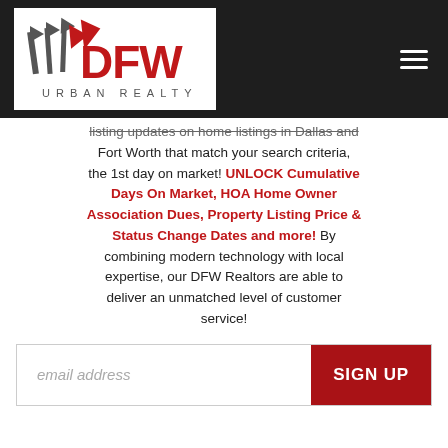[Figure (logo): DFW Urban Realty logo — red DFW letters with stylized flag/bar icons and 'URBAN REALTY' text below, on white background inside dark header bar]
listing updates on home listings in Dallas and Fort Worth that match your search criteria, the 1st day on market! UNLOCK Cumulative Days On Market, HOA Home Owner Association Dues, Property Listing Price & Status Change Dates and more! By combining modern technology with local expertise, our DFW Realtors are able to deliver an unmatched level of customer service!